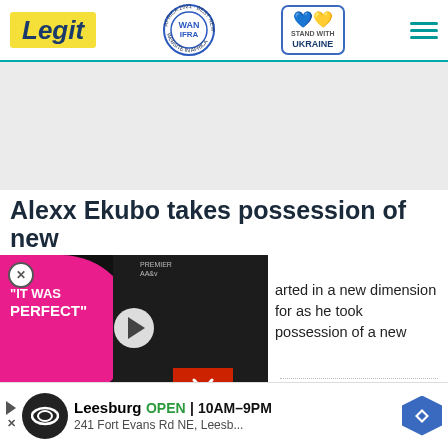Legit | WAN-IFRA 2021 Best News Website in Africa | Stand with Ukraine
[Figure (other): Advertisement placeholder area (light gray)]
Alexx Ekubo takes possession of new smart home
[Figure (screenshot): Embedded video thumbnail showing 'IT WAS PERFECT' text on pink background with two people, play button in center, and red chevron/down button]
arted in a new dimension for as he took possession of a new
media timeline to share a
[Figure (other): Bottom advertisement bar: Leesburg OPEN 10AM-9PM, 241 Fort Evans Rd NE, Leesb...]